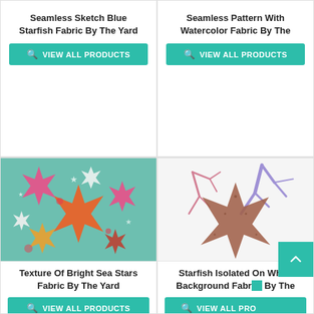Seamless Sketch Blue Starfish Fabric By The Yard
VIEW ALL PRODUCTS
Seamless Pattern With Watercolor Fabric By The
VIEW ALL PRODUCTS
[Figure (photo): Colorful seamless pattern with bright sea stars (starfish) on teal/green background fabric]
Texture Of Bright Sea Stars Fabric By The Yard
VIEW ALL PRODUCTS
[Figure (photo): Watercolor starfish isolated on white background fabric, brownish starfish with purple coral elements]
Starfish Isolated On White Background Fabric By The Yard
VIEW ALL PRODUCTS